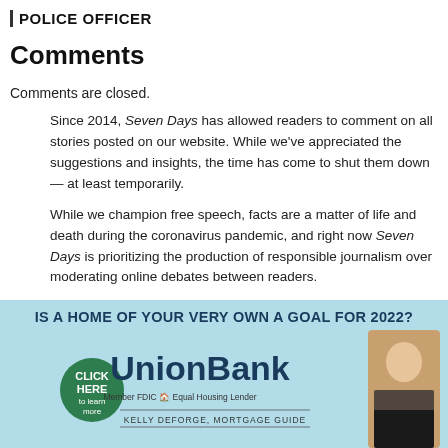POLICE OFFICER
Comments
Comments are closed.
Since 2014, Seven Days has allowed readers to comment on all stories posted on our website. While we've appreciated the suggestions and insights, the time has come to shut them down — at least temporarily.
While we champion free speech, facts are a matter of life and death during the coronavirus pandemic, and right now Seven Days is prioritizing the production of responsible journalism over moderating online debates between readers.
[Figure (illustration): Union Bank advertisement banner. Light blue background. Text 'IS A HOME OF YOUR VERY OWN A GOAL FOR 2022?' in bold navy. Green circle with 'CLICK HERE to learn more'. Large 'UnionBank' logo in navy. 'Member FDIC Equal Housing Lender'. 'KELLY DEFORGE, MORTGAGE GUIDE' with a photo of a woman on the right.]